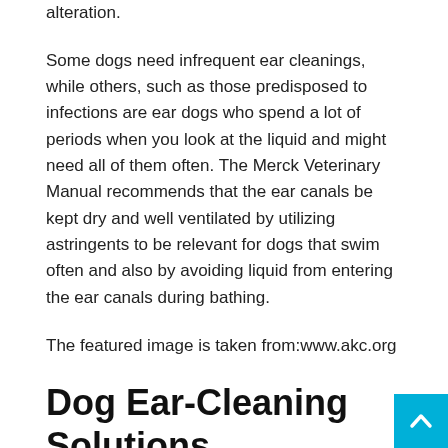alteration.
Some dogs need infrequent ear cleanings, while others, such as those predisposed to infections are ear dogs who spend a lot of periods when you look at the liquid and might need all of them often. The Merck Veterinary Manual recommends that the ear canals be kept dry and well ventilated by utilizing astringents to be relevant for dogs that swim often and also by avoiding liquid from entering the ear canals during bathing.
The featured image is taken from:www.akc.org
Dog Ear-Cleaning Solutions
The world wide web is full of do-it-yourself solutions being ear-cleaning puppies. Nevertheless, veterinarian-approved ear-cleaning solutions will be the choice this is certainly best. Some doctors also ear-cleaning solution as one of the